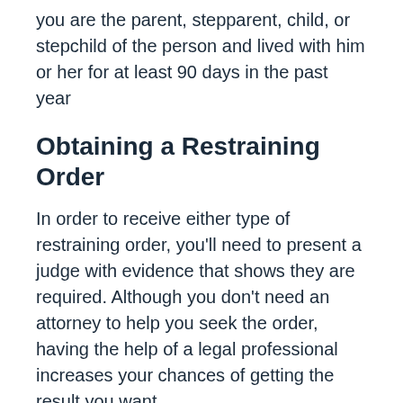you are the parent, stepparent, child, or stepchild of the person and lived with him or her for at least 90 days in the past year
Obtaining a Restraining Order
In order to receive either type of restraining order, you'll need to present a judge with evidence that shows they are required. Although you don't need an attorney to help you seek the order, having the help of a legal professional increases your chances of getting the result you want.
Peace orders. If you are seeking a peace order, you must present certain evidence to prove the order is necessary. For instance, you will have